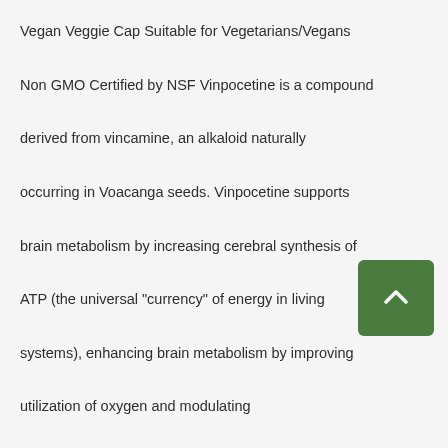Vegan Veggie Cap Suitable for Vegetarians/Vegans Non GMO Certified by NSF Vinpocetine is a compound derived from vincamine, an alkaloid naturally occurring in Voacanga seeds. Vinpocetine supports brain metabolism by increasing cerebral synthesis of ATP (the universal "currency" of energy in living systems), enhancing brain metabolism by improving utilization of oxygen and modulating neurotransmitter release in areas associated with memory.
SUGG. USE
Take 1 capsule 1 or 2 times per day with a meal or as directed by your qualified healthcare professional.
OTHER INGREDIENTS
Cellulose and magnesium stearate (vegetable